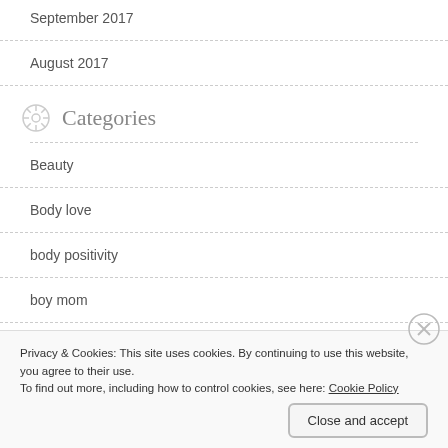September 2017
August 2017
Categories
Beauty
Body love
body positivity
boy mom
Privacy & Cookies: This site uses cookies. By continuing to use this website, you agree to their use.
To find out more, including how to control cookies, see here: Cookie Policy
Close and accept